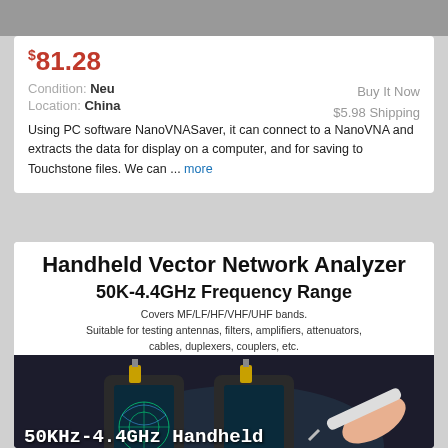$81.28
Buy It Now
$5.98 Shipping
Condition: Neu
Location: China
Using PC software NanoVNASaver, it can connect to a NanoVNA and extracts the data for display on a computer, and for saving to Touchstone files. We can ... more
Handheld Vector Network Analyzer
50K-4.4GHz Frequency Range
Covers MF/LF/HF/VHF/UHF bands.
Suitable for testing antennas, filters, amplifiers, attenuators, cables, duplexers, couplers, etc.
[Figure (photo): Photo of a handheld vector network analyzer device with two SMA connectors and a hand holding a stylus touching the screen. Overlay text reads: 50KHz-4.4GHz Handheld Vector Network Analyzer HF VHF UHF Antenna 7"]